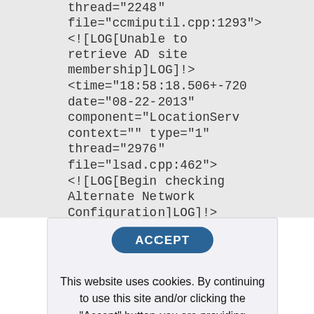thread="2248" file="ccmiputil.cpp:1293"> <![LOG[Unable to retrieve AD site membership]LOG]!> <time="18:58:18.506+-720 date="08-22-2013" component="LocationServ context="" type="1" thread="2976" file="lsad.cpp:462"> <![LOG[Begin checking Alternate Network Configuration]LOG]!> <time="18:58:18.506+-720
[Figure (screenshot): Cookie consent banner with an ACCEPT button and text: 'This website uses cookies. By continuing to use this site and/or clicking the "Accept" button you are providing consent Quest Software and its affiliates do NOT sell the Personal Data you provide to us either when you register on our websites or']